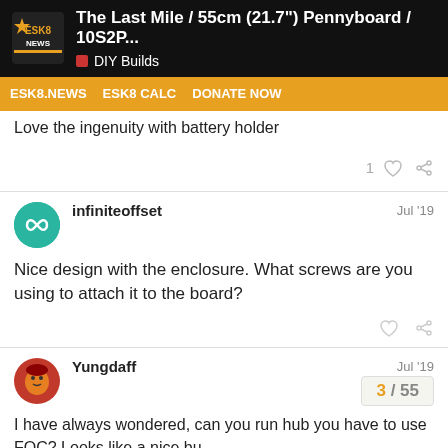The Last Mile / 55cm (21.7") Pennyboard / 10S2P... | DIY Builds
ESK8.NEWS  ESK8 CALC  DONATE NOW
Love the ingenuity with battery holder
infiniteoffset  Jul '19
Nice design with the enclosure. What screws are you using to attach it to the board?
Yungdaff  Jul '19
I have always wondered, can you run hub you have to use FOC? Looks like a nice bu
3 / 55